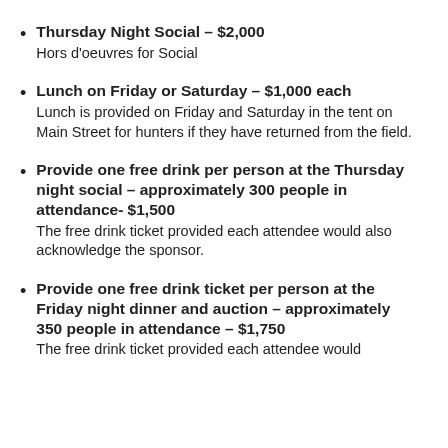Thursday Night Social – $2,000
Hors d'oeuvres for Social
Lunch on Friday or Saturday – $1,000 each
Lunch is provided on Friday and Saturday in the tent on Main Street for hunters if they have returned from the field.
Provide one free drink per person at the Thursday night social – approximately 300 people in attendance- $1,500
The free drink ticket provided each attendee would also acknowledge the sponsor.
Provide one free drink ticket per person at the Friday night dinner and auction – approximately 350 people in attendance – $1,750
The free drink ticket provided each attendee would